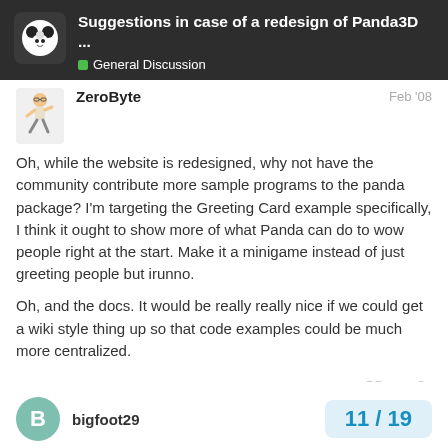Suggestions in case of a redesign of Panda3D ... — General Discussion
ZeroByte
Feb '08
Oh, while the website is redesigned, why not have the community contribute more sample programs to the panda package? I'm targeting the Greeting Card example specifically, I think it ought to show more of what Panda can do to wow people right at the start. Make it a minigame instead of just greeting people but irunno.
Oh, and the docs. It would be really really nice if we could get a wiki style thing up so that code examples could be much more centralized.
bigfoot29
11 / 19